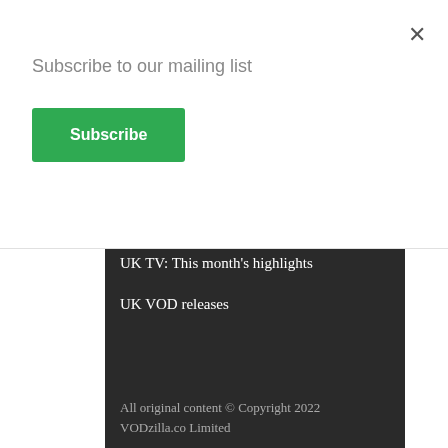×
Subscribe to our mailing list
Subscribe
UK TV: This month's highlights
UK VOD releases
All original content © Copyright 2022 VODzilla.co Limited